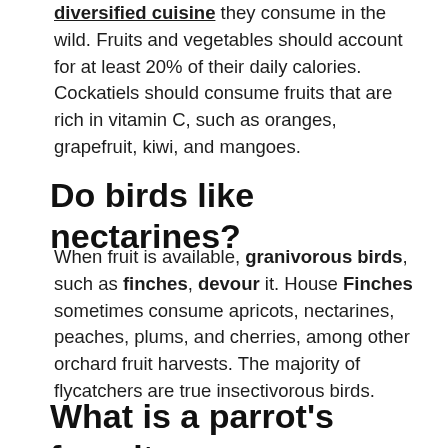diversified cuisine they consume in the wild. Fruits and vegetables should account for at least 20% of their daily calories. Cockatiels should consume fruits that are rich in vitamin C, such as oranges, grapefruit, kiwi, and mangoes.
Do birds like nectarines?
When fruit is available, granivorous birds, such as finches, devour it. House Finches sometimes consume apricots, nectarines, peaches, plums, and cherries, among other orchard fruit harvests. The majority of flycatchers are true insectivorous birds.
What is a parrot's favorite